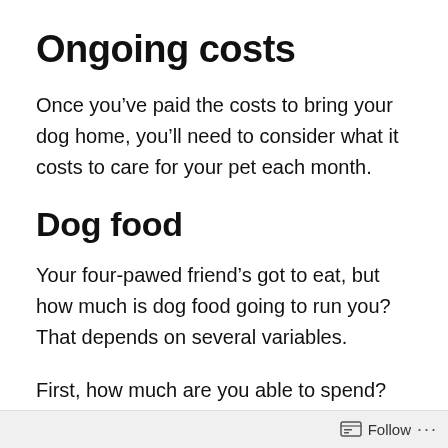Ongoing costs
Once you’ve paid the costs to bring your dog home, you’ll need to consider what it costs to care for your pet each month.
Dog food
Your four-pawed friend’s got to eat, but how much is dog food going to run you? That depends on several variables.
First, how much are you able to spend? The
Follow ...